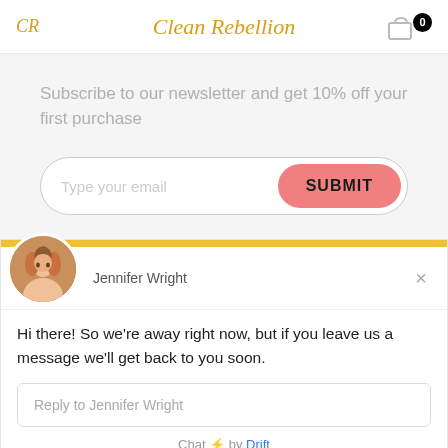CR | Clean Rebellion | 0
Subscribe to our newsletter and get 10% off your first purchase
[Figure (screenshot): Email input field with placeholder 'Type your email' and pink SUBMIT button]
[Figure (screenshot): Drift chat widget showing Jennifer Wright avatar, name, close button, message 'Hi there! So we're away right now, but if you leave us a message we'll get back to you soon.', reply input field, and Chat by Drift footer]